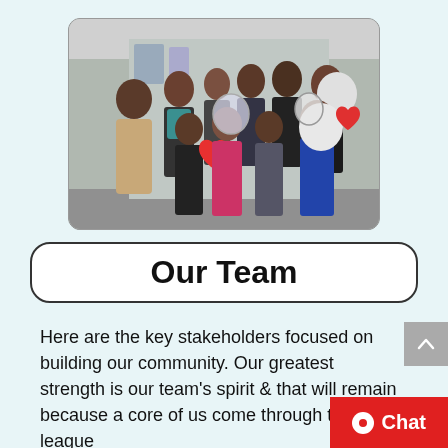[Figure (photo): Group photo of a team of approximately 12 people standing together in an indoor corridor/hallway, some holding heart-shaped and round balloons. Mixed group of men and women, some wearing casual and formal attire.]
Our Team
Here are the key stakeholders focused on building our community. Our greatest strength is our team's spirit & that will remain because a core of us come through the league